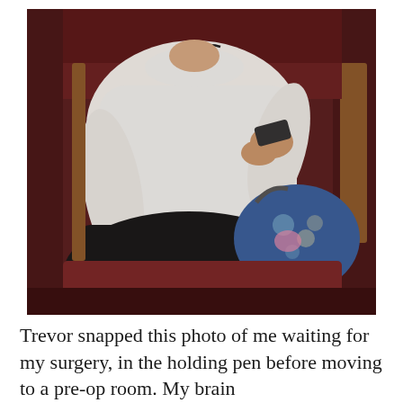[Figure (photo): A person wearing a white long-sleeve Nike shirt and black pants sits in a waiting area chair, holding a smartphone. They have a blue floral bag on their lap. The background shows dark reddish-brown chairs and walls, suggesting a hospital waiting or pre-op holding area.]
Trevor snapped this photo of me waiting for my surgery, in the holding pen before moving to a pre-op room. My brain